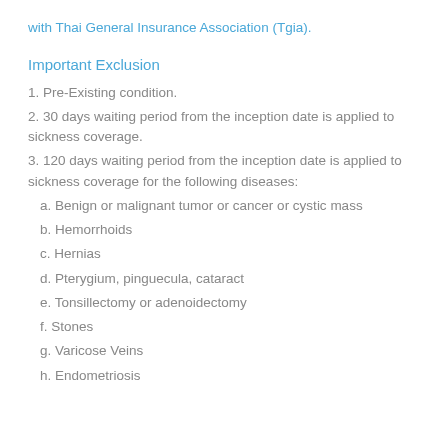with Thai General Insurance Association (Tgia).
Important Exclusion
1. Pre-Existing condition.
2. 30 days waiting period from the inception date is applied to sickness coverage.
3. 120 days waiting period from the inception date is applied to sickness coverage for the following diseases:
a. Benign or malignant tumor or cancer or cystic mass
b. Hemorrhoids
c. Hernias
d. Pterygium, pinguecula, cataract
e. Tonsillectomy or adenoidectomy
f. Stones
g. Varicose Veins
h. Endometriosis